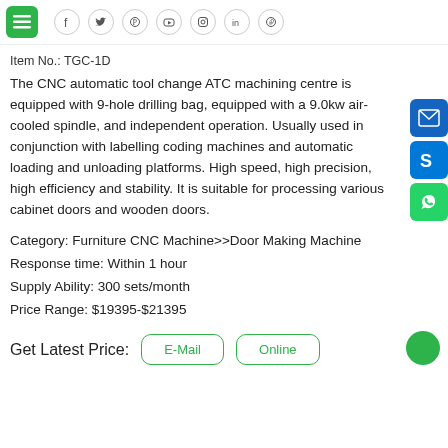Item No.: TGC-1D
The CNC automatic tool change ATC machining centre is equipped with 9-hole drilling bag, equipped with a 9.0kw air-cooled spindle, and independent operation. Usually used in conjunction with labelling coding machines and automatic loading and unloading platforms. High speed, high precision, high efficiency and stability. It is suitable for processing various cabinet doors and wooden doors.
Category: Furniture CNC Machine>>Door Making Machine
Response time: Within 1 hour
Supply Ability: 300 sets/month
Price Range: $19395-$21395
Get Latest Price: